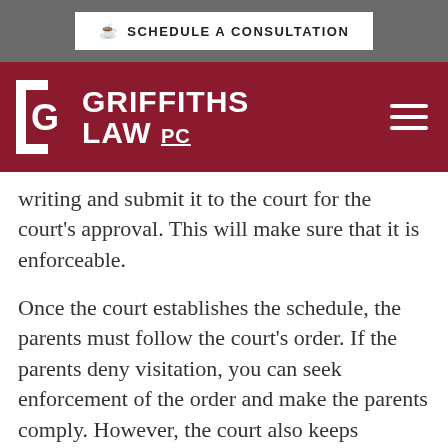[Figure (logo): Schedule a Consultation button with coffee cup icon in top gray bar]
[Figure (logo): Griffiths Law PC logo with white text and icon on dark red/maroon header bar, plus hamburger menu icon]
writing and submit it to the court for the court's approval. This will make sure that it is enforceable.
Once the court establishes the schedule, the parents must follow the court's order. If the parents deny visitation, you can seek enforcement of the order and make the parents comply. However, the court also keeps jurisdiction to end or change your grandparent's visitation rights. As with any order relating to children, the schedule is